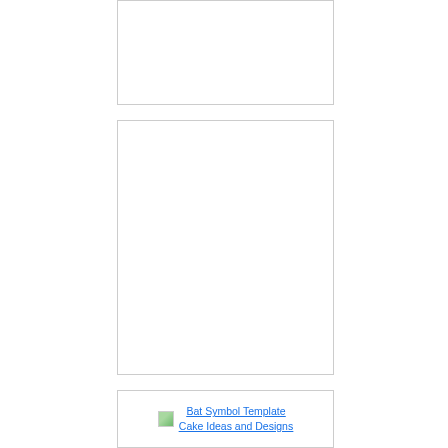[Figure (photo): Empty white image placeholder box (top)]
[Figure (photo): Empty white image placeholder box (middle, larger)]
[Figure (screenshot): Image link showing a small thumbnail icon and the text 'Bat Symbol Template Cake Ideas and Designs' as a hyperlink]